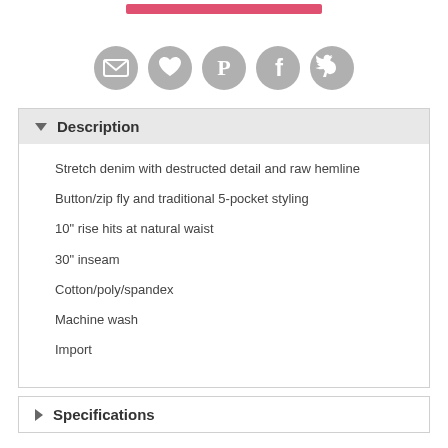[Figure (other): Pink/red rounded rectangle button at top]
[Figure (other): Row of five circular social share icons: email, heart/wishlist, Pinterest, Facebook, Twitter — all in grey]
Description
Stretch denim with destructed detail and raw hemline
Button/zip fly and traditional 5-pocket styling
10" rise hits at natural waist
30" inseam
Cotton/poly/spandex
Machine wash
Import
Specifications